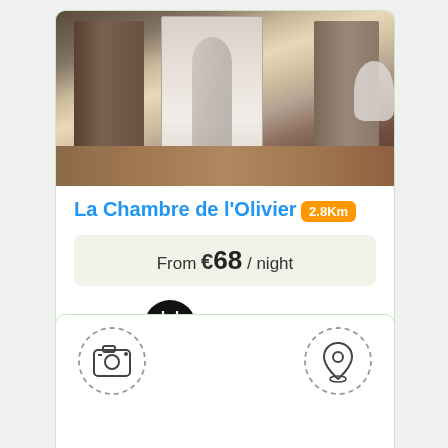[Figure (photo): Interior photo of a room showing doors and a hallway, with wooden floor visible]
La Chambre de l'Olivier 2.8Km
From €68 / night
Book Now
[Figure (other): Camera icon in dashed circle (photos section)]
[Figure (other): Location pin icon in dashed circle (map section)]